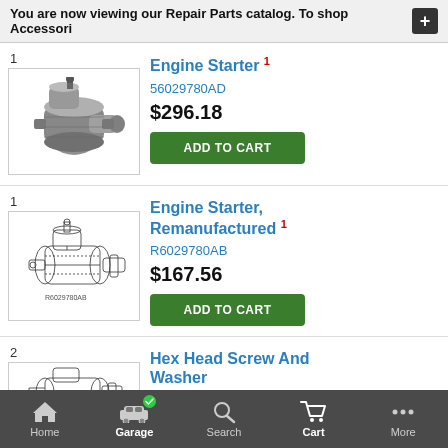You are now viewing our Repair Parts catalog. To shop Accessori
[Figure (photo): Engine Starter motor photo - silver metallic starter motor component]
Engine Starter 1
56029780AD
$296.18
ADD TO CART
[Figure (engineering-diagram): Engine Starter remanufactured - line drawing diagram of starter motor]
Engine Starter, Remanufactured 1
R6029780AB
$167.56
ADD TO CART
[Figure (engineering-diagram): Hex Head Screw And Washer - line drawing diagram]
Hex Head Screw And Washer
6505490AA
Home  Garage  Search  Cart  More